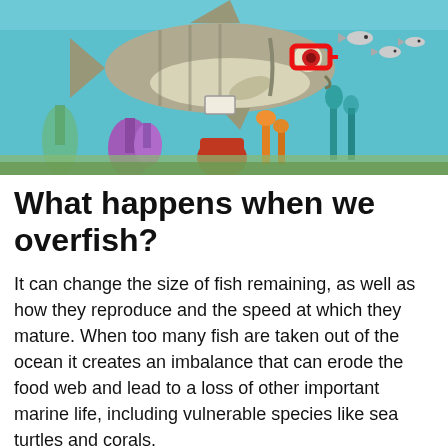[Figure (illustration): Cartoon underwater scene showing a large grey fish wearing red glasses swimming among colorful coral reef plants and smaller fish on a teal/blue ocean background.]
What happens when we overfish?
It can change the size of fish remaining, as well as how they reproduce and the speed at which they mature. When too many fish are taken out of the ocean it creates an imbalance that can erode the food web and lead to a loss of other important marine life, including vulnerable species like sea turtles and corals.
Why are bluefin tuna